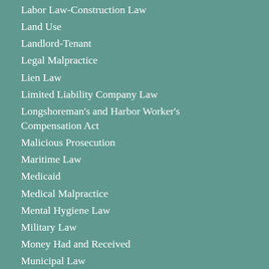Labor Law-Construction Law
Land Use
Landlord-Tenant
Legal Malpractice
Lien Law
Limited Liability Company Law
Longshoreman's and Harbor Worker's Compensation Act
Malicious Prosecution
Maritime Law
Medicaid
Medical Malpractice
Mental Hygiene Law
Military Law
Money Had and Received
Municipal Law
Navigation Law